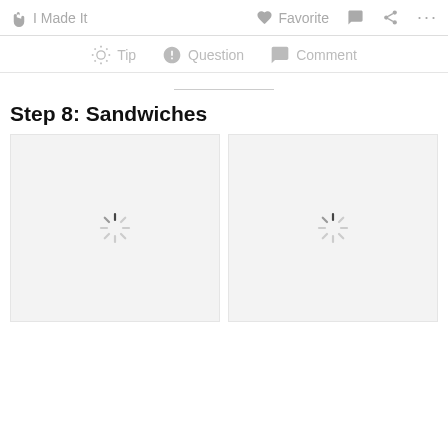✋ I Made It   ♥ Favorite   💬   Share   ...
💡 Tip   ❓ Question   💬 Comment
Step 8: Sandwiches
[Figure (photo): Loading placeholder image (spinner) - left image slot]
[Figure (photo): Loading placeholder image (spinner) - right image slot]